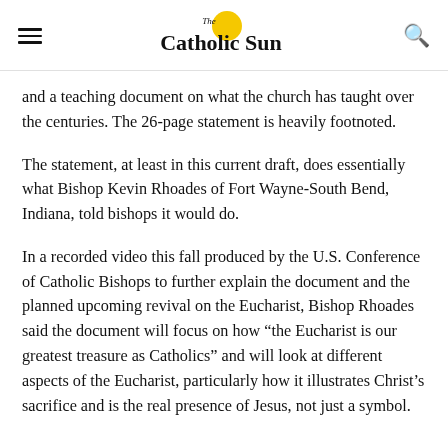The Catholic Sun
and a teaching document on what the church has taught over the centuries. The 26-page statement is heavily footnoted.
The statement, at least in this current draft, does essentially what Bishop Kevin Rhoades of Fort Wayne-South Bend, Indiana, told bishops it would do.
In a recorded video this fall produced by the U.S. Conference of Catholic Bishops to further explain the document and the planned upcoming revival on the Eucharist, Bishop Rhoades said the document will focus on how “the Eucharist is our greatest treasure as Catholics” and will look at different aspects of the Eucharist, particularly how it illustrates Christ’s sacrifice and is the real presence of Jesus, not just a symbol.